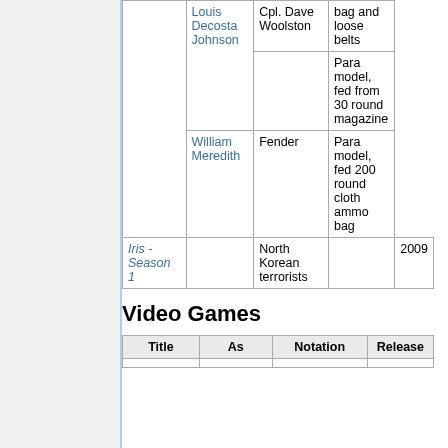| Title | As | Notation | Release |
| --- | --- | --- | --- |
|  | Louis Decosta Johnson | Cpl. Dave Woolston | bag and loose belts |
|  |  |  | Para model, fed from 30 round magazine |
|  | William Meredith | Fender | Para model, fed 200 round cloth ammo bag |
| Iris - Season 1 |  | North Korean terrorists | 2009 |
Video Games
| Title | As | Notation | Release |
| --- | --- | --- | --- |